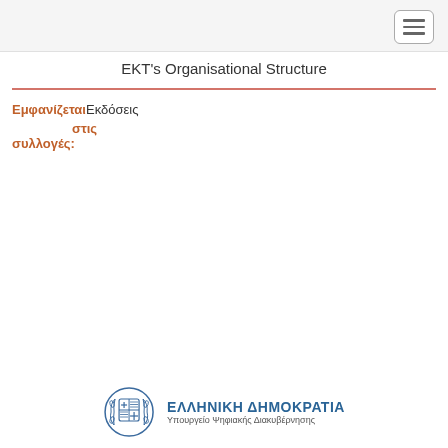EKT's Organisational Structure
ΕμφανίζεταιΕκδόσεις στις συλλογές:
[Figure (logo): Greek government logo: Hellenic Republic emblem with text ΕΛΛΗΝΙΚΗ ΔΗΜΟΚΡΑΤΙΑ and subtitle Υπουργείο Ψηφιακής Διακυβέρνησης]